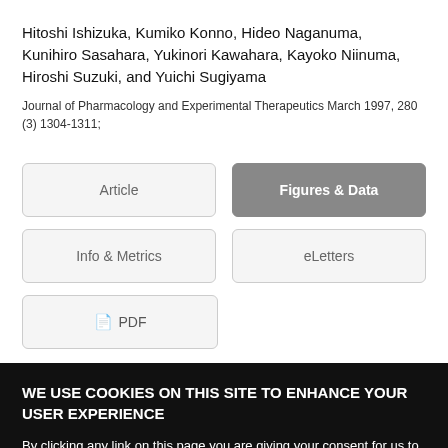Hitoshi Ishizuka, Kumiko Konno, Hideo Naganuma, Kunihiro Sasahara, Yukinori Kawahara, Kayoko Niinuma, Hiroshi Suzuki, and Yuichi Sugiyama
Journal of Pharmacology and Experimental Therapeutics March 1997, 280 (3) 1304-1311;
Article
Figures & Data
Info & Metrics
eLetters
PDF
WE USE COOKIES ON THIS SITE TO ENHANCE YOUR USER EXPERIENCE
By clicking any link on this page you are giving your consent for us to set cookies.
OK, I agree
No, give me more info